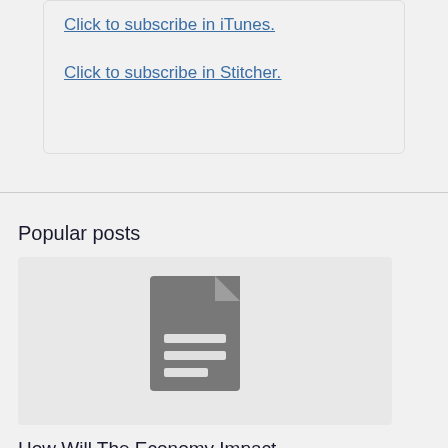Click to subscribe in iTunes.
Click to subscribe in Stitcher.
Popular posts
[Figure (illustration): Gray document/file icon with lines representing text, on a light gray background]
How Will The Economy Impact